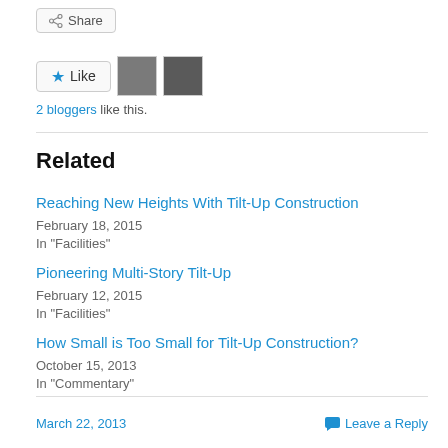Share
Like  2 bloggers like this.
Related
Reaching New Heights With Tilt-Up Construction
February 18, 2015
In "Facilities"
Pioneering Multi-Story Tilt-Up
February 12, 2015
In "Facilities"
How Small is Too Small for Tilt-Up Construction?
October 15, 2013
In "Commentary"
March 22, 2013    Leave a Reply